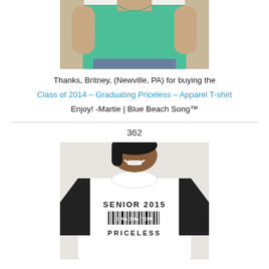[Figure (photo): Photo of person wearing a mint/teal green t-shirt, cropped to show torso and arms]
Thanks, Britney, (Newville, PA) for buying the Class of 2014 – Graduating Priceless – Apparel T-shirt Enjoy! -Martie | Blue Beach Song™
362
[Figure (photo): Photo of a smiling woman wearing a white and black raglan baseball-style t-shirt printed with SENIOR 2015 GRADUATION PRICELESS barcode design]